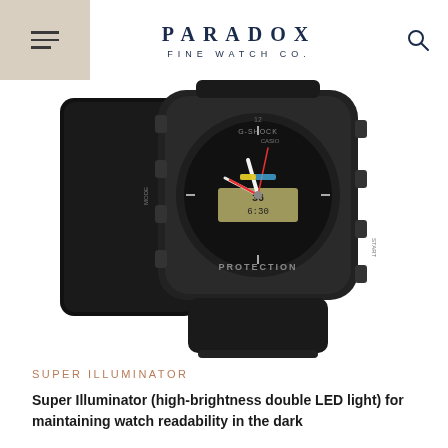PARADOX FINE WATCH CO.
[Figure (photo): Casio G-Shock wristwatch in black colorway showing analog-digital display with 'PROTECTION' text on bezel, displayed next to a smartphone, on white background]
SUPER ILLUMINATOR
Super Illuminator (high-brightness double LED light) for maintaining watch readability in the dark